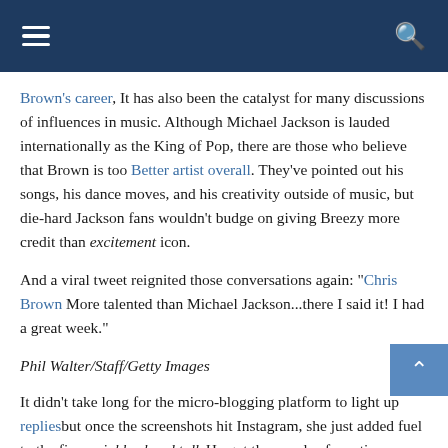[navigation bar with hamburger menu and search icon]
Brown's career, It has also been the catalyst for many discussions of influences in music. Although Michael Jackson is lauded internationally as the King of Pop, there are those who believe that Brown is too Better artist overall. They've pointed out his songs, his dance moves, and his creativity outside of music, but die-hard Jackson fans wouldn't budge on giving Breezy more credit than excitement icon.
And a viral tweet reignited those conversations again: "Chris Brown More talented than Michael Jackson...there I said it! I had a great week."
Phil Walter/Staff/Getty Images
It didn't take long for the micro-blogging platform to light up repliesbut once the screenshots hit Instagram, she just added fuel to the fire. neighborhood talk He got thousands of reactions, including one from a R&B veteran tank Which agrees with feelings.